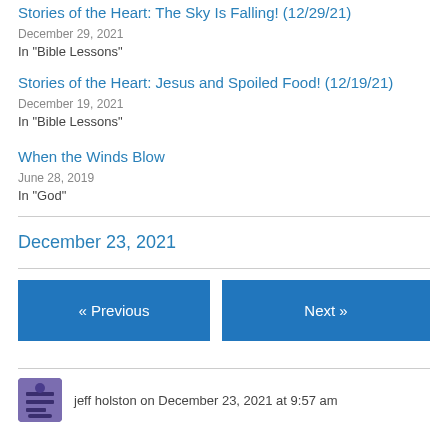Stories of the Heart: The Sky Is Falling! (12/29/21)
December 29, 2021
In "Bible Lessons"
Stories of the Heart: Jesus and Spoiled Food! (12/19/21)
December 19, 2021
In "Bible Lessons"
When the Winds Blow
June 28, 2019
In "God"
December 23, 2021
« Previous
Next »
jeff holston on December 23, 2021 at 9:57 am